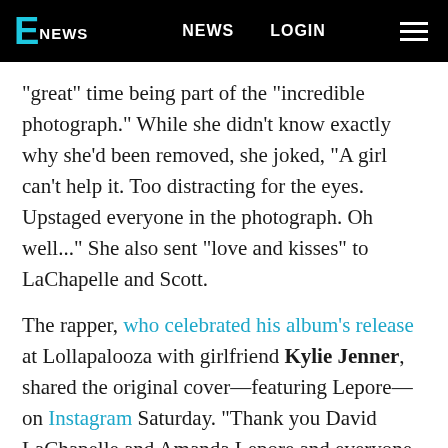E NEWS   NEWS   LOGIN
"great" time being part of the "incredible photograph." While she didn't know exactly why she'd been removed, she joked, "A girl can't help it. Too distracting for the eyes. Upstaged everyone in the photograph. Oh well..." She also sent "love and kisses" to LaChapelle and Scott.
The rapper, who celebrated his album's release at Lollapalooza with girlfriend Kylie Jenner, shared the original cover—featuring Lepore—on Instagram Saturday. "Thank you David LaChapelle and Amanda Lepore and everyone that came out to make all the covers and the vision come to life!" he said.